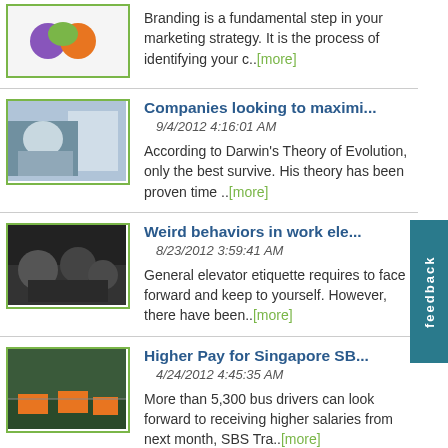Branding is a fundamental step in your marketing strategy. It is the process of identifying your c..[more]
Companies looking to maximi... 9/4/2012 4:16:01 AM According to Darwin's Theory of Evolution, only the best survive. His theory has been proven time ..[more]
Weird behaviors in work ele... 8/23/2012 3:59:41 AM General elevator etiquette requires to face forward and keep to yourself. However, there have been..[more]
Higher Pay for Singapore SB... 4/24/2012 4:45:35 AM More than 5,300 bus drivers can look forward to receiving higher salaries from next month, SBS Tra..[more]
General Forum Rules 4/23/2012 10:18:57 AM General Forum Rules: These rules apply to all Forum